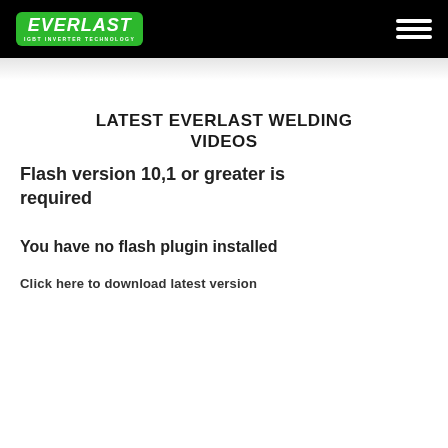EVERLAST IGBT INVERTER TECHNOLOGY
LATEST EVERLAST WELDING VIDEOS
Flash version 10,1 or greater is required
You have no flash plugin installed
Click here to download latest version